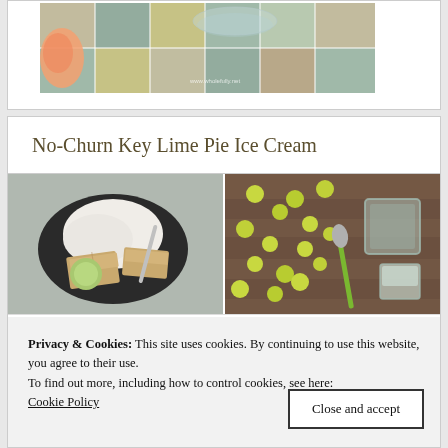[Figure (photo): Top cropped photo showing colorful tiled/mosaic surface with a peach and glass, watermark visible]
No-Churn Key Lime Pie Ice Cream
[Figure (photo): Two side-by-side photos: left shows ice cream with graham crackers on a dark plate, right shows key limes scattered on a wooden surface with a knife and measuring cup]
Privacy & Cookies: This site uses cookies. By continuing to use this website, you agree to their use.
To find out more, including how to control cookies, see here:
Cookie Policy
Close and accept